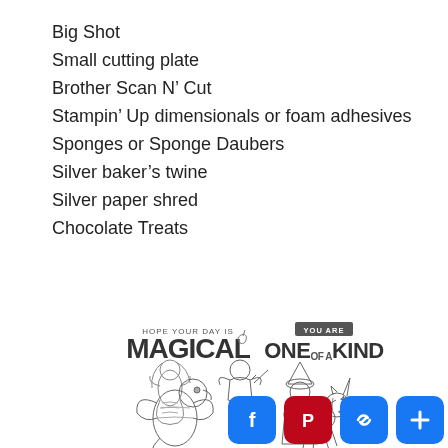Big Shot
Small cutting plate
Brother Scan N’ Cut
Stampin’ Up dimensionals or foam adhesives
Sponges or Sponge Daubers
Silver baker’s twine
Silver paper shred
Chocolate Treats
[Figure (illustration): Stampin Up stamp set illustration showing text 'HOPE YOUR DAY IS MAGICAL' and 'YOU ARE ONE OF A KIND' with fantasy creature characters: mermaid, knight, wizard, dragon, unicorn]